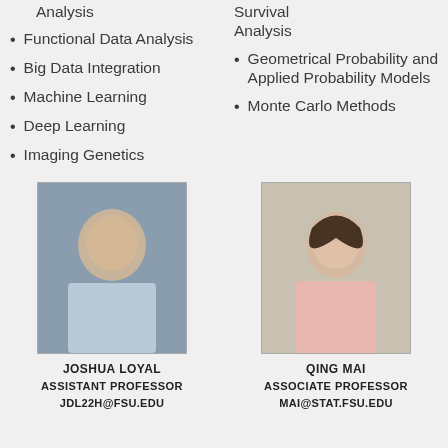Analysis
Functional Data Analysis
Big Data Integration
Machine Learning
Deep Learning
Imaging Genetics
Survival Analysis
Geometrical Probability and Applied Probability Models
Monte Carlo Methods
[Figure (photo): Headshot photo of Joshua Loyal, a man in a light blue shirt against a grey background.]
JOSHUA LOYAL
ASSISTANT PROFESSOR
JDL22H@FSU.EDU
[Figure (photo): Headshot photo of Qing Mai, a woman with dark hair against a light background.]
QING MAI
ASSOCIATE PROFESSOR
MAI@STAT.FSU.EDU